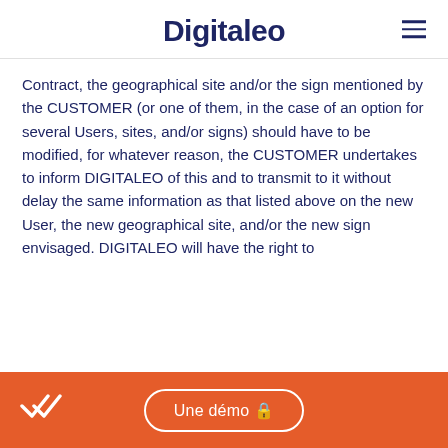Digitaleo
Contract, the geographical site and/or the sign mentioned by the CUSTOMER (or one of them, in the case of an option for several Users, sites, and/or signs) should have to be modified, for whatever reason, the CUSTOMER undertakes to inform DIGITALEO of this and to transmit to it without delay the same information as that listed above on the new User, the new geographical site, and/or the new sign envisaged. DIGITALEO will have the right to
Une démo 🔒